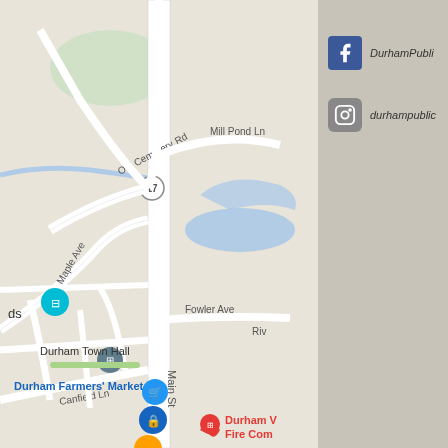[Figure (map): Google Maps view of Durham, CT showing Durham Town Hall, Durham Farmers' Market, Main St, Old Cemetery Rd, Maple Ave, Mill Pond Ln, Fowler Ave, Canfield Ln, Route 17, and Durham Volunteer Fire Company. Map pins visible for town hall, farmers market, fire company, and other locations.]
DurhamPubli
durhampublic